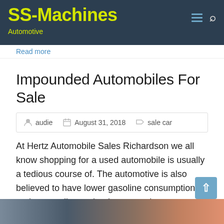SS-Machines | Automotive
Read more
Impounded Automobiles For Sale
audie  August 31, 2018  sale car
At Hertz Automobile Sales Richardson we all know shopping for a used automobile is usually a tedious course of. The automotive is also believed to have lower gasoline consumption and great mileage that improves the automobile's fame within the used market. After all, we're solely scratching the surface of what Hertz Automobile Gross sales Boston has to offer. If a automotive has been in a flood you probably do not wish to purchase it. The interior wiring might be corroding if it got moist.